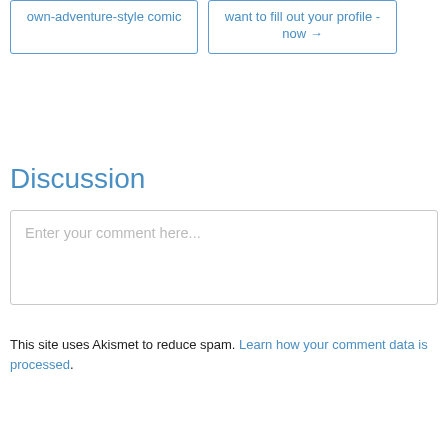own-adventure-style comic
want to fill out your profile - now →
Discussion
Enter your comment here...
This site uses Akismet to reduce spam. Learn how your comment data is processed.